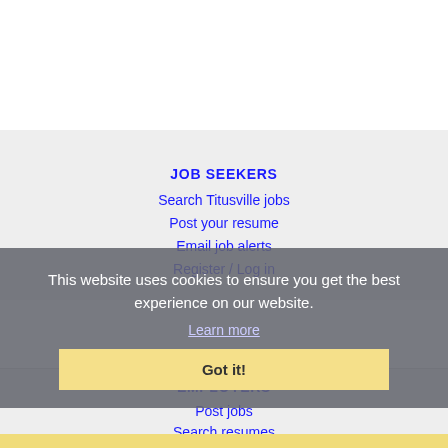JOB SEEKERS
Search Titusville jobs
Post your resume
Email job alerts
Register / Log in
This website uses cookies to ensure you get the best experience on our website.
Learn more
Got it!
EMPLOYERS
Post jobs
Search resumes
Email resume alerts
Advertise